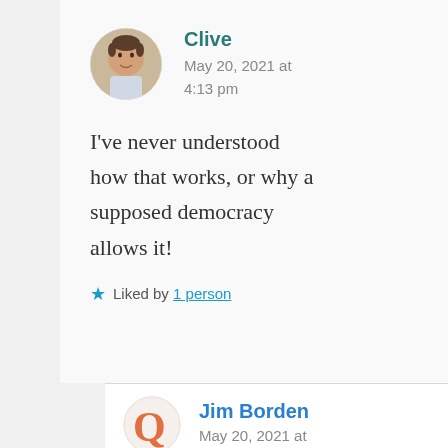[Figure (photo): Circular avatar photo of Clive, a man in a light shirt]
Clive
May 20, 2021 at 4:13 pm
I've never understood how that works, or why a supposed democracy allows it!
★ Liked by 1 person
[Figure (logo): Circular avatar with orange Q letter for Jim Borden]
Jim Borden
May 20, 2021 at